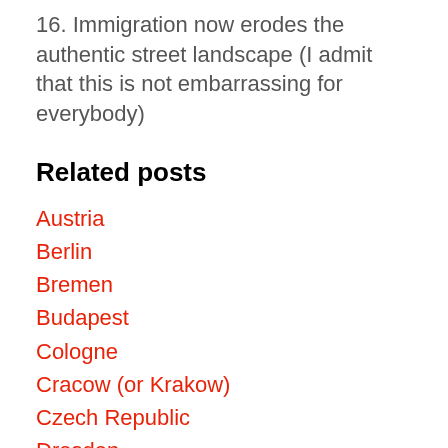16. Immigration now erodes the authentic street landscape (I admit that this is not embarrassing for everybody)
Related posts
Austria
Berlin
Bremen
Budapest
Cologne
Cracow (or Krakow)
Czech Republic
Dresden
Düsseldorf